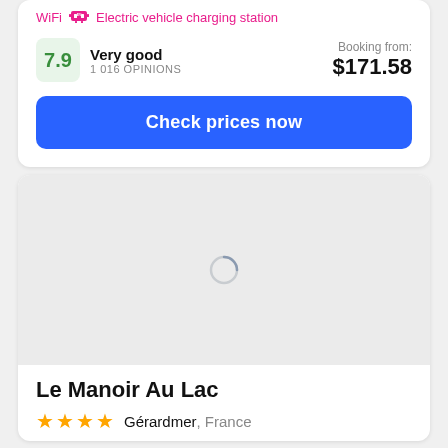WiFi   Electric vehicle charging station
Very good
1 016 OPINIONS
Booking from: $171.58
Check prices now
[Figure (photo): Loading placeholder image area with spinner for hotel Le Manoir Au Lac]
Le Manoir Au Lac
★★★★  Gérardmer, France